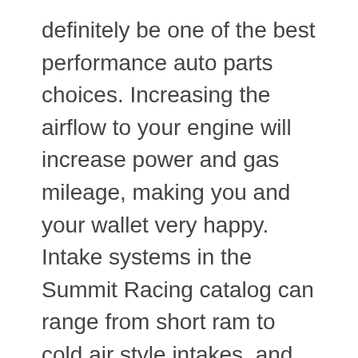definitely be one of the best performance auto parts choices. Increasing the airflow to your engine will increase power and gas mileage, making you and your wallet very happy. Intake systems in the Summit Racing catalog can range from short ram to cold air style intakes, and can even include air dams or block off plates for trucks and vans.
Speaking of trucks, if you are looking for truck accessories there's little doubt the Summit Racing catalog has everything for your project. Lowering springs and drop spindles can give your truck the perfect